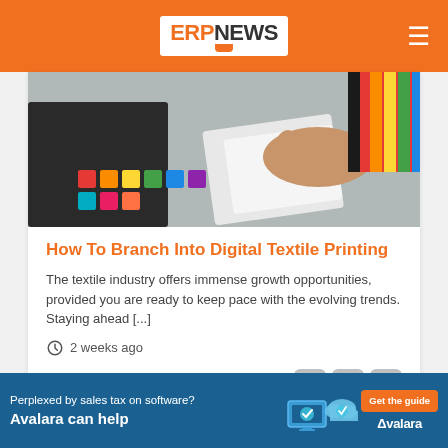ERP NEWS
[Figure (photo): Close-up of a hand holding colorful printed textile/fabric swatches near a printing machine]
How To Branch Into Digital Textile Printing
The textile industry offers immense growth opportunities, provided you are ready to keep pace with the evolving trends. Staying ahead [...]
2 weeks ago
Articles
[Figure (screenshot): Partially visible second article card with text 'Gryphon Investors Completes' and a Close button]
[Figure (infographic): Avalara advertisement banner: 'Perplexed by sales tax on software? Avalara can help' with Get the guide CTA and Avalara logo]